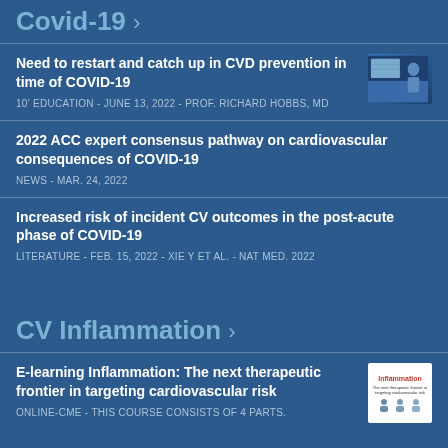Covid-19 >
Need to restart and catch up in CVD prevention in time of COVID-19
10' EDUCATION - JUNE 13, 2022 - PROF. RICHARD HOBBS, MD
2022 ACC expert consensus pathway on cardiovascular consequences of COVID-19
NEWS - MAR. 24, 2022
Increased risk of incident CV outcomes in the post-acute phase of COVID-19
LITERATURE - FEB. 15, 2022 - XIE Y ET AL. - NAT MED. 2022
CV Inflammation >
E-learning Inflammation: The next therapeutic frontier in targeting cardiovascular risk
ONLINE-CME - THIS COURSE CONSISTS OF 4 PARTS.